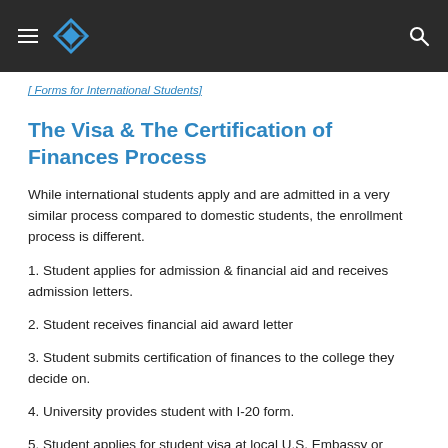Navigation bar with hamburger menu, diamond logo, and search icon
[ Forms for International Students]
The Visa & The Certification of Finances Process
While international students apply and are admitted in a very similar process compared to domestic students, the enrollment process is different.
1. Student applies for admission & financial aid and receives admission letters.
2. Student receives financial aid award letter
3. Student submits certification of finances to the college they decide on.
4. University provides student with I-20 form.
5. Student applies for student visa at local U.S. Embassy or